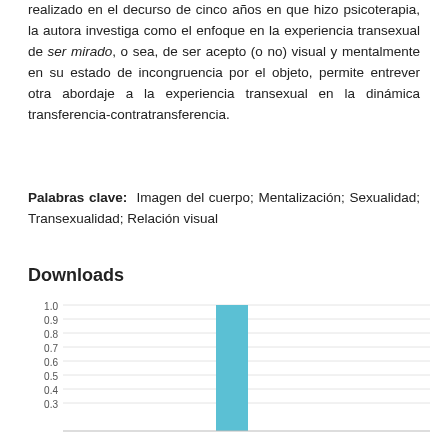realizado en el decurso de cinco años en que hizo psicoterapia, la autora investiga como el enfoque en la experiencia transexual de ser mirado, o sea, de ser acepto (o no) visual y mentalmente en su estado de incongruencia por el objeto, permite entrever otra abordaje a la experiencia transexual en la dinámica transferencia-contratransferencia.
Palabras clave: Imagen del cuerpo; Mentalización; Sexualidad; Transexualidad; Relación visual
Downloads
[Figure (bar-chart): Downloads]